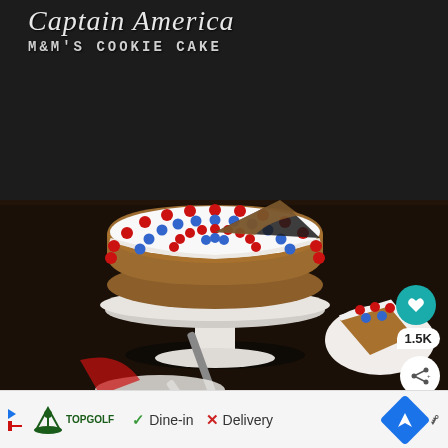[Figure (photo): Captain America M&M's Cookie Cake — a large round cookie cake on a white pedestal cake stand, decorated with red and blue M&M candies arranged in the Captain America shield pattern (concentric rings), with white frosting. A slice has been removed. A plate with the removed slice sits to the lower right. A cake server and plates are visible on a dark wood surface.]
Captain America
M&M's Cookie Cake
1.5K
[Figure (logo): Topgolf logo with play/stop icons and 'Dine-in' and 'Delivery' options in an advertisement bar. Navigation arrow icon and Waze-style icons on the right.]